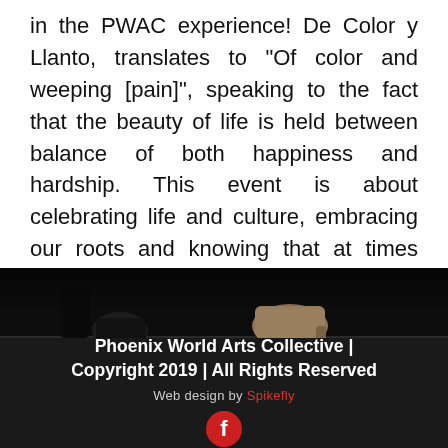in the PWAC experience! De Color y Llanto, translates to "Of color and weeping [pain]", speaking to the fact that the beauty of life is held between balance of both happiness and hardship. This event is about celebrating life and culture, embracing our roots and knowing that at times there is no beauty without pain.
[Figure (photo): Dark background photo showing dancer shoes/heels, partially visible feet on a dark stage floor]
Phoenix World Arts Collective | Copyright 2019 | All Rights Reserved
Web design by Spikefly